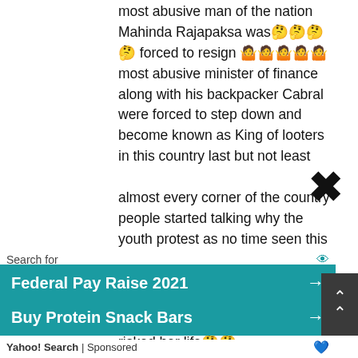most abusive man of the nation Mahinda Rajapaksa was 🤔🤔🤔🤔 forced to resign 🤷🤷🤷🤷🤷most abusive minister of finance along with his backpacker Cabral were forced to step down and become known as King of looters in this country last but not least

almost every corner of the country people started talking why the youth protest as no time seen this culture.in the past.

people Are today awaken, we salute Hirunika again to have risked her life🤔🤔

🤔🤔
Search for
Federal Pay Raise 2021
Buy Protein Snack Bars
Yahoo! Search | Sponsored